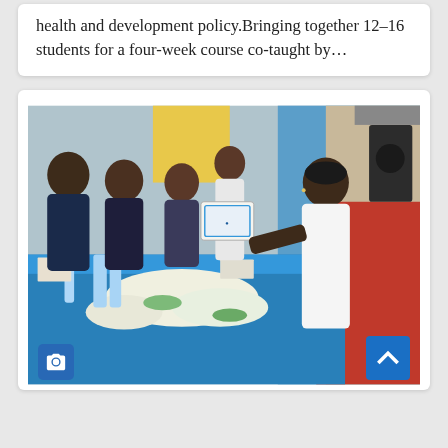health and development policy.Bringing together 12–16 students for a four-week course co-taught by…
[Figure (photo): A ceremony where officials in formal attire seated at a blue-draped table hand a certificate or document to a woman dressed in white medical/nurse uniform, with floral arrangements on the table and a red carpet. A camera icon overlay appears at the bottom left and a blue scroll-up button at the bottom right.]